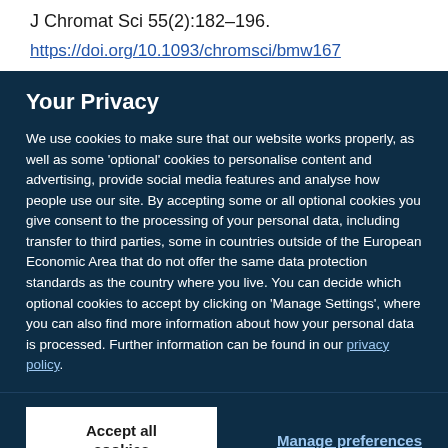J Chromat Sci 55(2):182–196.
https://doi.org/10.1093/chromsci/bmw167
Your Privacy
We use cookies to make sure that our website works properly, as well as some 'optional' cookies to personalise content and advertising, provide social media features and analyse how people use our site. By accepting some or all optional cookies you give consent to the processing of your personal data, including transfer to third parties, some in countries outside of the European Economic Area that do not offer the same data protection standards as the country where you live. You can decide which optional cookies to accept by clicking on 'Manage Settings', where you can also find more information about how your personal data is processed. Further information can be found in our privacy policy.
Accept all cookies
Manage preferences